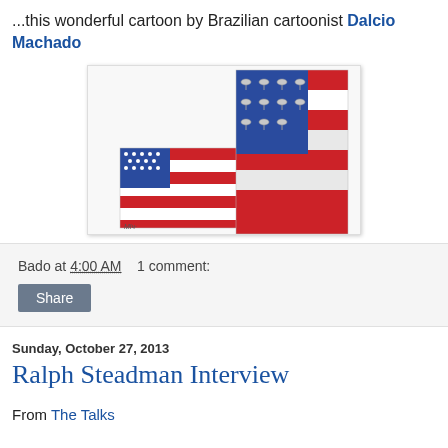...this wonderful cartoon by Brazilian cartoonist Dalcio Machado
[Figure (illustration): Political cartoon showing the American flag on the left and a larger version of the flag on the right with satellite dishes replacing the stars in the blue field, suggesting surveillance. The flag stripes are red and white. Signed by the artist at the bottom left.]
Bado at 4:00 AM    1 comment:
Share
Sunday, October 27, 2013
Ralph Steadman Interview
From The Talks